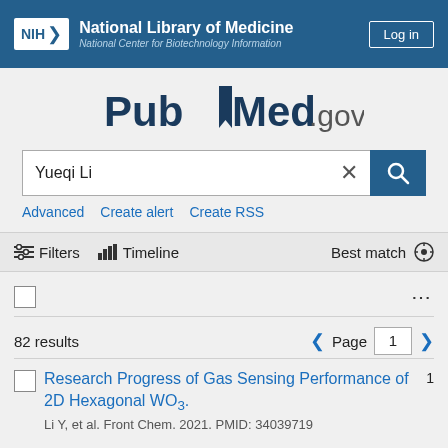NIH National Library of Medicine National Center for Biotechnology Information | Log in
[Figure (logo): PubMed.gov logo with bookmark icon]
Yueqi Li
Advanced | Create alert | Create RSS
Filters | Timeline | Best match
82 results | Page 1
Research Progress of Gas Sensing Performance of 2D Hexagonal WO3.
Li Y, et al. Front Chem. 2021. PMID: 34039719